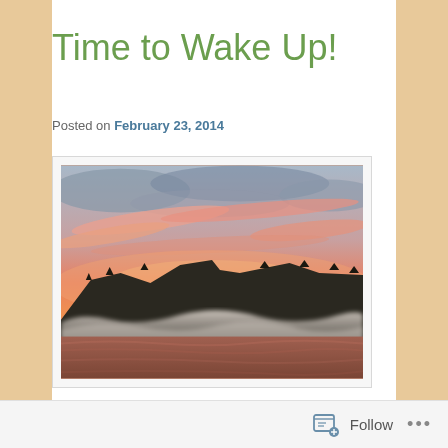Time to Wake Up!
Posted on February 23, 2014
[Figure (photo): Dramatic sunrise or sunset over a mountain ridge with a foggy lake in the foreground. The sky is filled with vivid pink, orange, and red clouds against blue-grey clouds. Low-lying mist sits along the water surface between the dark forested mountain and the water.]
Follow ...